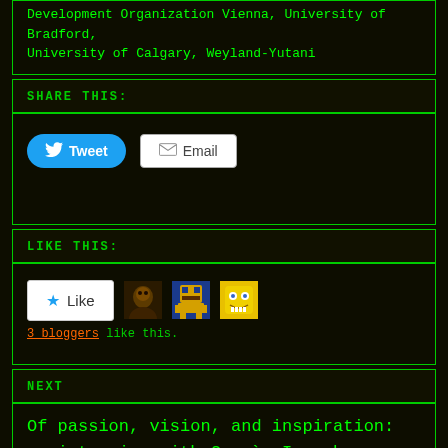Development Organization Vienna, University of Bradford, University of Calgary, Weyland-Yutani
SHARE THIS:
[Figure (screenshot): Tweet and Email share buttons]
LIKE THIS:
[Figure (screenshot): Like button with star icon and 3 blogger avatars. Text: 3 bloggers like this.]
NEXT
Of passion, vision, and inspiration: an interview with Germàn Impache.